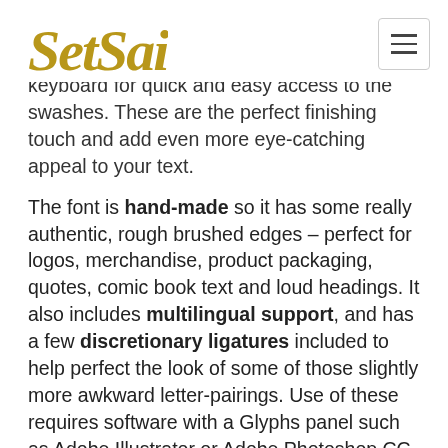SetSail [logo]
keyboard for quick and easy access to the swashes. These are the perfect finishing touch and add even more eye-catching appeal to your text.
The font is hand-made so it has some really authentic, rough brushed edges – perfect for logos, merchandise, product packaging, quotes, comic book text and loud headings. It also includes multilingual support, and has a few discretionary ligatures included to help perfect the look of some of those slightly more awkward letter-pairings. Use of these requires software with a Glyphs panel such as Adobe Illustrator or Adobe Photoshop CC.
I think that covers everything! But as always, please don't hesitate to e-mail us at info@setsailstudios.com if you have any issues or